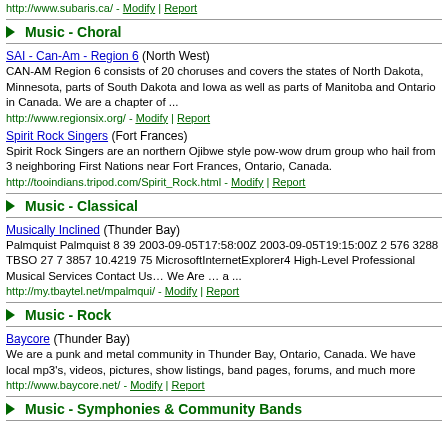http://www.subaris.ca/ - Modify | Report
Music - Choral
SAI - Can-Am - Region 6 (North West)
CAN-AM Region 6 consists of 20 choruses and covers the states of North Dakota, Minnesota, parts of South Dakota and Iowa as well as parts of Manitoba and Ontario in Canada. We are a chapter of ...
http://www.regionsix.org/ - Modify | Report
Spirit Rock Singers (Fort Frances)
Spirit Rock Singers are an northern Ojibwe style pow-wow drum group who hail from 3 neighboring First Nations near Fort Frances, Ontario, Canada.
http://tooindians.tripod.com/Spirit_Rock.html - Modify | Report
Music - Classical
Musically Inclined (Thunder Bay)
Palmquist Palmquist 8 39 2003-09-05T17:58:00Z 2003-09-05T19:15:00Z 2 576 3288 TBSO 27 7 3857 10.4219 75 MicrosoftInternetExplorer4 High-Level Professional Musical Services Contact Us… We Are … a ...
http://my.tbaytel.net/mpalmqui/ - Modify | Report
Music - Rock
Baycore (Thunder Bay)
We are a punk and metal community in Thunder Bay, Ontario, Canada. We have local mp3's, videos, pictures, show listings, band pages, forums, and much more
http://www.baycore.net/ - Modify | Report
Music - Symphonies & Community Bands